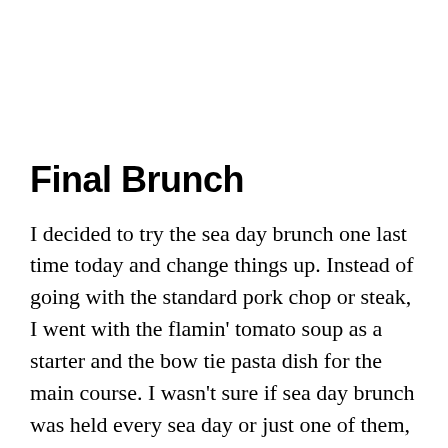Final Brunch
I decided to try the sea day brunch one last time today and change things up. Instead of going with the standard pork chop or steak, I went with the flamin' tomato soup as a starter and the bow tie pasta dish for the main course. I wasn't sure if sea day brunch was held every sea day or just one of them, but it turns out it was held on both sea days during this seven-night sailing.